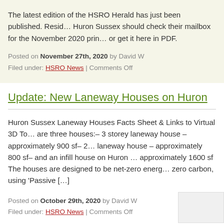The latest edition of the HSRO Herald has just been published. Residents of Huron Sussex should check their mailbox for the November 2020 print version, or get it here in PDF.
Posted on November 27th, 2020 by David W
Filed under: HSRO News | Comments Off
Update: New Laneway Houses on Huron
Huron Sussex Laneway Houses Facts Sheet & Links to Virtual 3D To… are three houses:– 3 storey laneway house – approximately 900 sf– 2… laneway house – approximately 800 sf– and an infill house on Huron … approximately 1600 sf The houses are designed to be net-zero energ… zero carbon, using 'Passive […]
Posted on October 29th, 2020 by David W
Filed under: HSRO News | Comments Off